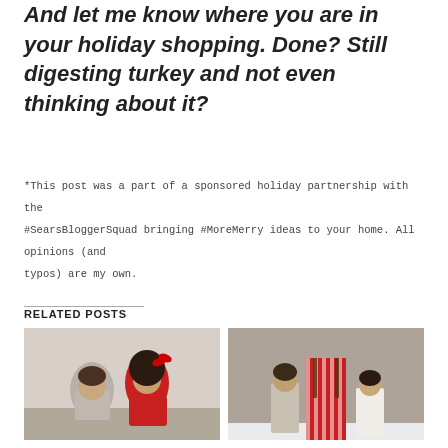And let me know where you are in your holiday shopping. Done? Still digesting turkey and not even thinking about it?
*This post was a part of a sponsored holiday partnership with the #SearsBloggerSquad bringing #MoreMerry ideas to your home. All opinions (and typos) are my own.
RELATED POSTS
[Figure (photo): Two young children, a boy and a girl, sitting together. The girl wears a red dress and has a red bow in her curly hair. The boy wears a grey shirt.]
[Figure (photo): Two children standing with an adult wearing red striped pants and suspenders, outdoors in a snowy setting against a brick wall.]